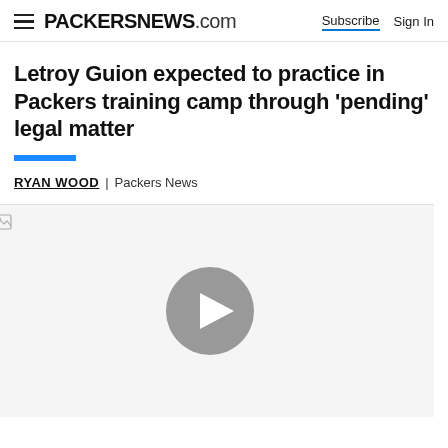PACKERSNEWS.com  Subscribe  Sign In
Letroy Guion expected to practice in Packers training camp through 'pending' legal matter
RYAN WOOD  | Packers News
[Figure (screenshot): Video player with grey play button on white/light background. A broken image icon appears in top-left corner.]